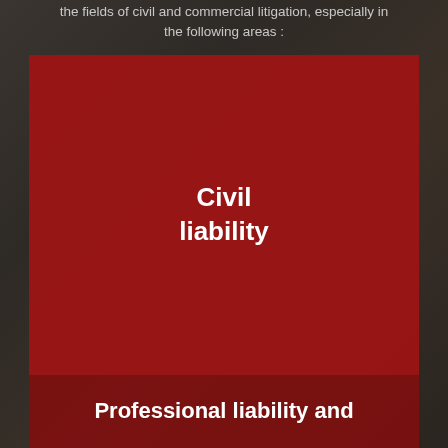the fields of civil and commercial litigation, especially in the following areas :
Civil liability
Professional liability and